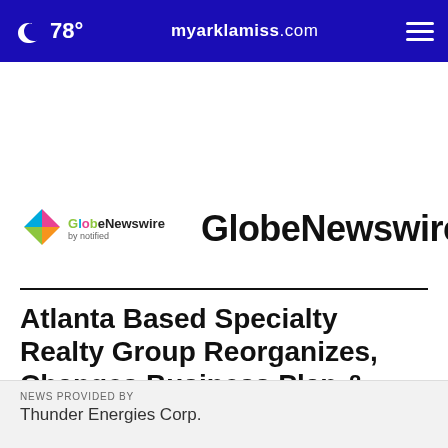78° myarklamiss.com
[Figure (logo): GlobeNewswire by notified logo with colorful arrow icon and vertical divider, followed by large GlobeNewswire text]
Atlanta Based Specialty Realty Group Reorganizes, Changes Business Plan & Leadership
NEWS PROVIDED BY
Thunder Energies Corp.